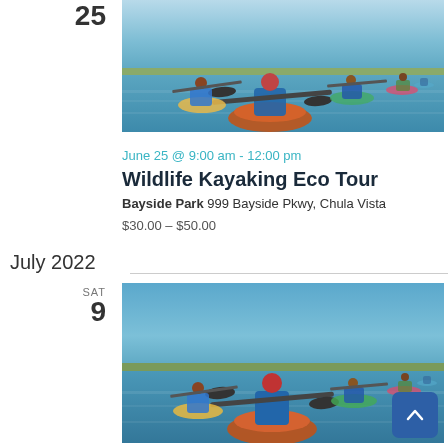25
[Figure (photo): Group of people kayaking on calm water, viewed from behind, with marshland in background]
June 25 @ 9:00 am - 12:00 pm
Wildlife Kayaking Eco Tour
Bayside Park 999 Bayside Pkwy, Chula Vista
$30.00 – $50.00
July 2022
SAT
9
[Figure (photo): Group of people kayaking on calm water, viewed from behind, with marshland in background]
July 9 @ 9:00 am - 12:00 pm
Wildlife Kayaking Eco Tour